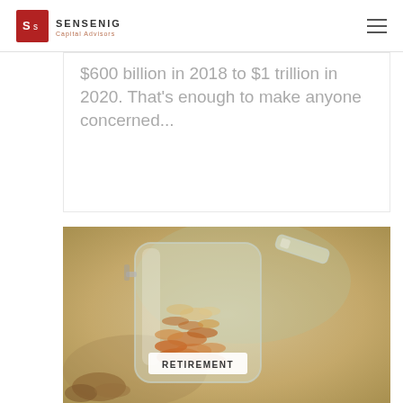SENSENIG Capital Advisors
$600 billion in 2018 to $1 trillion in 2020. That's enough to make anyone concerned...
[Figure (photo): A glass jar filled with coins labeled RETIREMENT, with the lid open, set against a soft warm blurred background.]